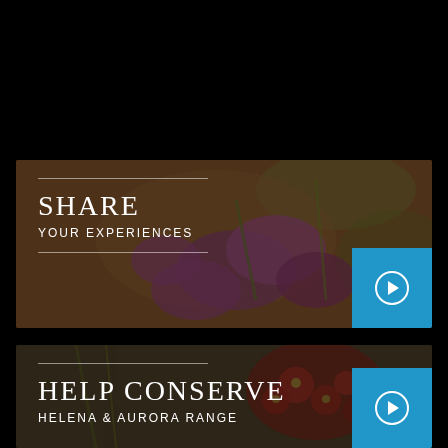[Figure (infographic): Banner card with blurred purple flowers background. Text: SHARE / YOUR EXPERIENCES with a blue arrow button.]
[Figure (infographic): Banner card with blurred red berries background. Text: HELP CONSERVE / HELENA & AURORA RANGE with a blue arrow button.]